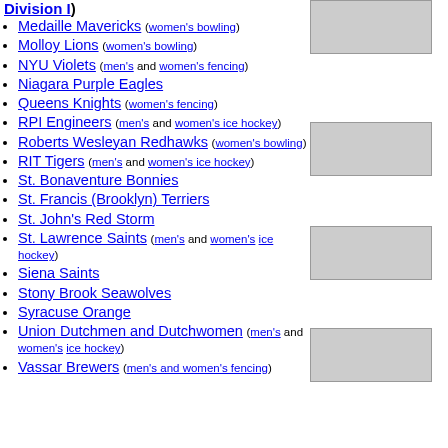Medaille Mavericks (women's bowling)
Molloy Lions (women's bowling)
NYU Violets (men's and women's fencing)
Niagara Purple Eagles
Queens Knights (women's fencing)
RPI Engineers (men's and women's ice hockey)
Roberts Wesleyan Redhawks (women's bowling)
RIT Tigers (men's and women's ice hockey)
St. Bonaventure Bonnies
St. Francis (Brooklyn) Terriers
St. John's Red Storm
St. Lawrence Saints (men's and women's ice hockey)
Siena Saints
Stony Brook Seawolves
Syracuse Orange
Union Dutchmen and Dutchwomen (men's and women's ice hockey)
Vassar Brewers (men's and women's fencing)
[Figure (photo): Photo 1 - aerial/campus view]
[Figure (photo): Photo 2 - building exterior]
[Figure (photo): Photo 3 - arena exterior]
[Figure (photo): Photo 4 - aerial stadium view]